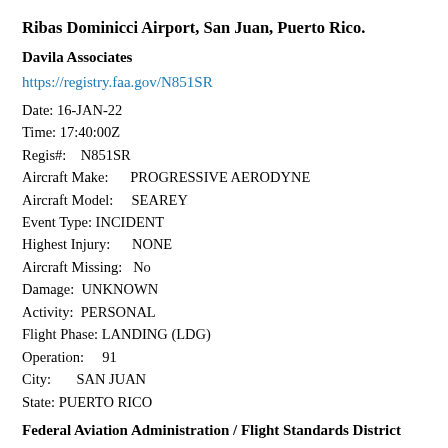Ribas Dominicci Airport, San Juan, Puerto Rico.
Davila Associates
https://registry.faa.gov/N851SR
Date: 16-JAN-22
Time: 17:40:00Z
Regis#: N851SR
Aircraft Make: PROGRESSIVE AERODYNE
Aircraft Model: SEAREY
Event Type: INCIDENT
Highest Injury: NONE
Aircraft Missing: No
Damage: UNKNOWN
Activity: PERSONAL
Flight Phase: LANDING (LDG)
Operation: 91
City: SAN JUAN
State: PUERTO RICO
Federal Aviation Administration / Flight Standards District